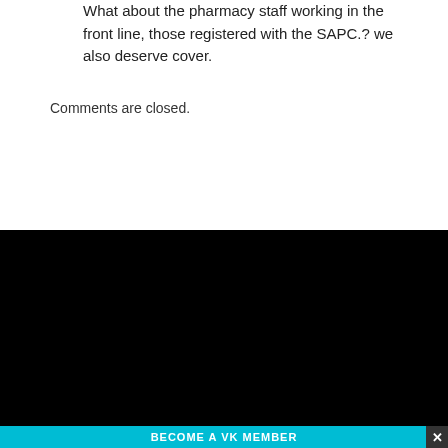What about the pharmacy staff working in the front line, those registered with the SAPC.? we also deserve cover.
Comments are closed.
[Figure (logo): VKN. logo — white bold letters 'VKN' with a teal circle dot, on black background]
BECOME A VK MEMBER